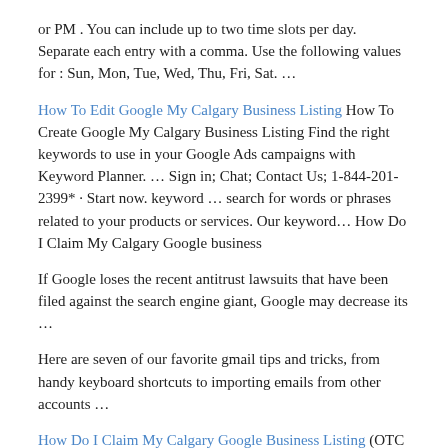or PM . You can include up to two time slots per day. Separate each entry with a comma. Use the following values for : Sun, Mon, Tue, Wed, Thu, Fri, Sat. …
How To Edit Google My Calgary Business Listing How To Create Google My Calgary Business Listing Find the right keywords to use in your Google Ads campaigns with Keyword Planner. … Sign in; Chat; Contact Us; 1-844-201-2399* · Start now. keyword … search for words or phrases related to your products or services. Our keyword… How Do I Claim My Calgary Google business
If Google loses the recent antitrust lawsuits that have been filed against the search engine giant, Google may decrease its …
Here are seven of our favorite gmail tips and tricks, from handy keyboard shortcuts to importing emails from other accounts …
How Do I Claim My Calgary Google Business Listing (OTC PINK: FDIT) owner of Findit.com, a full service social networking platform which provides online marketing campaigns and tools for members to increase brand awareness through content creation and … (OTC PINK: FDIT) owner of Findit.com, a full service social networking platform which provides online marketing campaigns and tools for members to increase brand awareness …